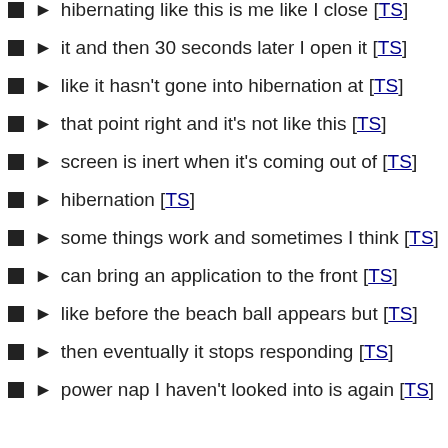hibernating like this is me like I close [TS]
it and then 30 seconds later I open it [TS]
like it hasn't gone into hibernation at [TS]
that point right and it's not like this [TS]
screen is inert when it's coming out of [TS]
hibernation [TS]
some things work and sometimes I think [TS]
can bring an application to the front [TS]
like before the beach ball appears but [TS]
then eventually it stops responding [TS]
power nap I haven't looked into is again [TS]